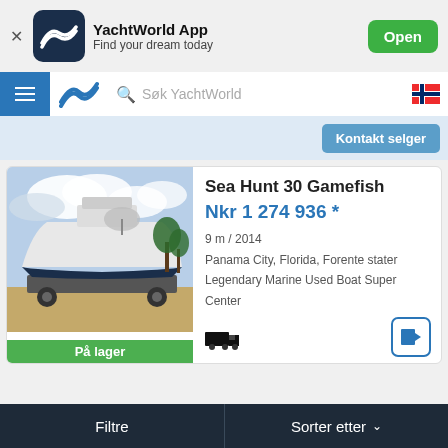[Figure (screenshot): YachtWorld App banner with dark navy icon showing stylized wave/seagull logo, app name and description, and green Open button]
[Figure (screenshot): Navigation bar with hamburger menu, YachtWorld logo, search bar placeholder 'Søk YachtWorld', and Norwegian flag icon]
[Figure (screenshot): Blue 'Kontakt selger' button on light blue strip]
[Figure (photo): Photo of a Sea Hunt 30 Gamefish boat on a trailer, outdoors with cloudy sky, with 'På lager' (In stock) green badge]
Sea Hunt 30 Gamefish
Nkr 1 274 936 *
9 m / 2014
Panama City, Florida, Forente stater
Legendary Marine Used Boat Super Center
Filtre    Sorter etter